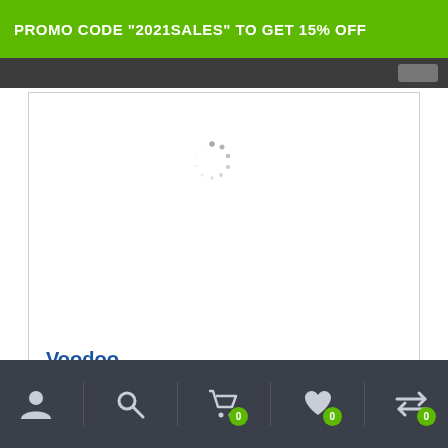PROMO CODE "2021SALES" TO GET 15% OFF
[Figure (screenshot): Loading spinner (circular dashed indicator) in center of product image area]
Voodoo
$255.00 – $2,200.00
Bottom navigation bar with icons: user, search, cart (0), wishlist (0), compare (0)